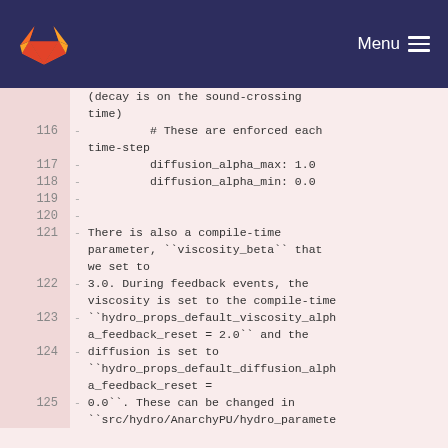Menu
(decay is on the sound-crossing time)
- # These are enforced each time-step
- diffusion_alpha_max: 1.0
- diffusion_alpha_min: 0.0
-
-
- There is also a compile-time parameter, ``viscosity_beta`` that we set to
- 3.0. During feedback events, the viscosity is set to the compile-time
- ``hydro_props_default_viscosity_alpha_feedback_reset = 2.0`` and the
- diffusion is set to ``hydro_props_default_diffusion_alpha_feedback_reset =
- 0.0``. These can be changed in ``src/hydro/AnarchyPU/hydro_paramete